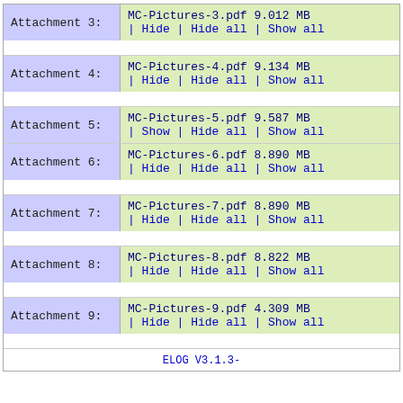| Label | File |
| --- | --- |
| Attachment 3: | MC-Pictures-3.pdf 9.012 MB
| Hide | Hide all | Show all |
| Attachment 4: | MC-Pictures-4.pdf 9.134 MB
| Hide | Hide all | Show all |
| Attachment 5: | MC-Pictures-5.pdf 9.587 MB
| Show | Hide all | Show all |
| Attachment 6: | MC-Pictures-6.pdf 8.890 MB
| Hide | Hide all | Show all |
| Attachment 7: | MC-Pictures-7.pdf 8.890 MB
| Hide | Hide all | Show all |
| Attachment 8: | MC-Pictures-8.pdf 8.822 MB
| Hide | Hide all | Show all |
| Attachment 9: | MC-Pictures-9.pdf 4.309 MB
| Hide | Hide all | Show all |
ELOG V3.1.3-